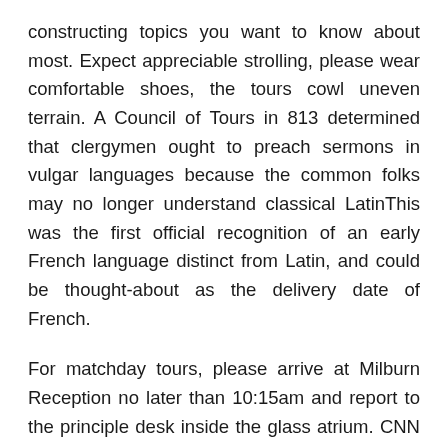constructing topics you want to know about most. Expect appreciable strolling, please wear comfortable shoes, the tours cowl uneven terrain. A Council of Tours in 813 determined that clergymen ought to preach sermons in vulgar languages because the common folks may no longer understand classical LatinThis was the first official recognition of an early French language distinct from Latin, and could be thought-about as the delivery date of French.
For matchday tours, please arrive at Milburn Reception no later than 10:15am and report to the principle desk inside the glass atrium. CNN Studio Tours offers a behind-the-scenes take a look at how CNN operates as well as the historical past of the world's largest news community. You probably have a question